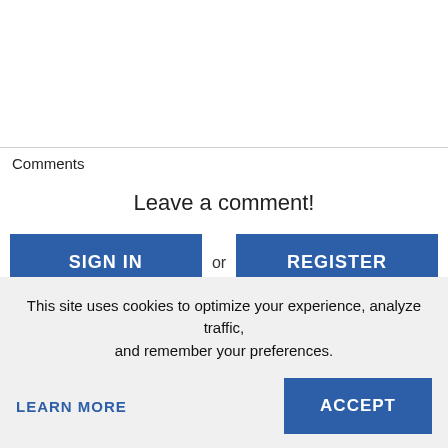Comments
Leave a comment!
[Figure (screenshot): Two blue buttons labeled SIGN IN and REGISTER with 'or' text between them]
2 comments
Scripps
This site uses cookies to optimize your experience, analyze traffic, and remember your preferences.
LEARN MORE
ACCEPT